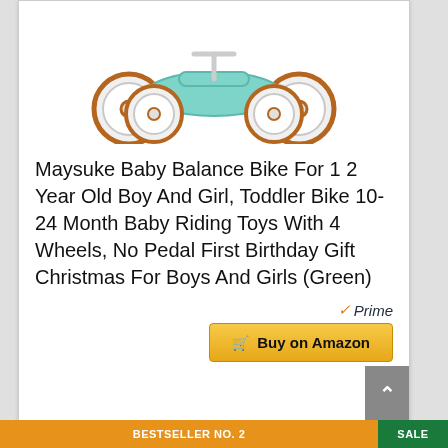[Figure (photo): Maysuke baby balance bike with 4 wheels in green/white/brown color scheme, viewed from the front-side]
Maysuke Baby Balance Bike For 1 2 Year Old Boy And Girl, Toddler Bike 10-24 Month Baby Riding Toys With 4 Wheels, No Pedal First Birthday Gift Christmas For Boys And Girls (Green)
[Figure (logo): Amazon Prime checkmark logo with text 'Prime' in orange and dark color]
Buy on Amazon